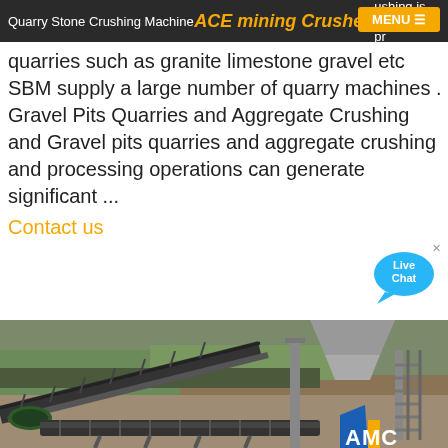Quarry Stone Crushing Machines 21 Stone Quarry Stone Crushing — ACE mining Crusher — crushing is the basic pro…
quarries such as granite limestone gravel etc SBM supply a large number of quarry machines . Gravel Pits Quarries and Aggregate Crushing and Gravel pits quarries and aggregate crushing and processing operations can generate significant ...
Contact us
[Figure (photo): Industrial stone crushing machinery/conveyor belt system at a quarry site, with AMC logo visible in bottom right corner]